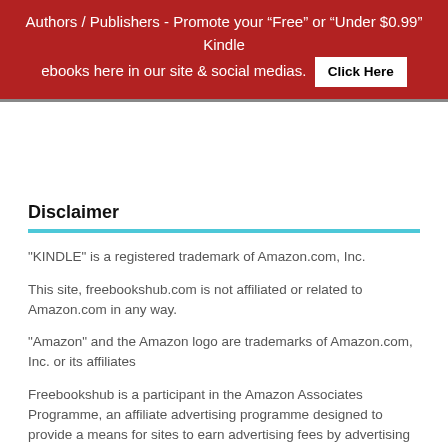Authors / Publishers - Promote your “Free” or “Under $0.99” Kindle ebooks here in our site & social medias. Click Here
Disclaimer
"KINDLE" is a registered trademark of Amazon.com, Inc.
This site, freebookshub.com is not affiliated or related to Amazon.com in any way.
"Amazon" and the Amazon logo are trademarks of Amazon.com, Inc. or its affiliates
Freebookshub is a participant in the Amazon Associates Programme, an affiliate advertising programme designed to provide a means for sites to earn advertising fees by advertising